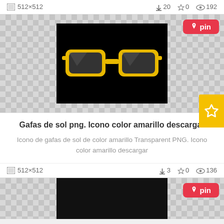512×512  ⬇20  ☆0  👁192
[Figure (screenshot): Yellow sunglasses icon on black background with checkered transparency pattern. Pin button in top right corner.]
Gafas de sol png. Icono color amarillo descargar
Icono de gafas de sol de color amarillo Transparent PNG. Icono color amarillo descargar
512×512  ⬇3  ☆0  👁136
[Figure (screenshot): Black rectangle on checkered transparency pattern with pin button in top right corner — partial view of next icon card.]